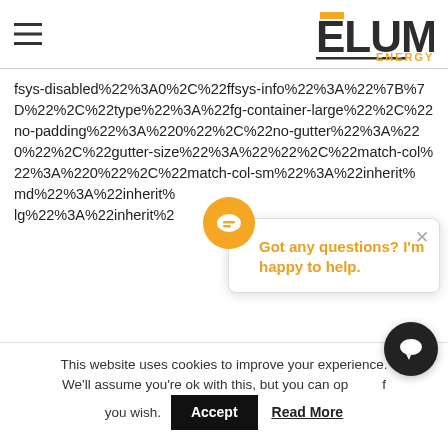[Figure (logo): Elum Energy logo with hamburger menu icon on the left and ELUM ENERGY logo on the right with yellow/orange accent bar]
fsys-disabled%22%3A0%2C%22ffsys-info%22%3A%22%7B%7D%22%2C%22type%22%3A%22fg-container-large%22%2C%22no-padding%22%3A%220%22%2C%22no-gutter%22%3A%220%22%2C%22gutter-size%22%3A%22%22%2C%22match-col%22%3A%220%22%2C%22match-col-sm%22%3A%22inherit%22%2C%22match-col-md%22%3A%22inherit%22%2C%22match-col-lg%22%3A%22inherit%22
[Figure (screenshot): Chat popup widget with Elum Energy icon, close button, and message 'Got any questions? I'm happy to help.']
This website uses cookies to improve your experience. We'll assume you're ok with this, but you can opt-out if you wish.
Accept  Read More